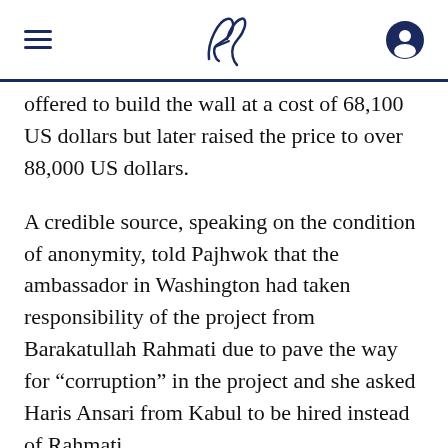Pajhwok Afghan News
offered to build the wall at a cost of 68,100 US dollars but later raised the price to over 88,000 US dollars.
A credible source, speaking on the condition of anonymity, told Pajhwok that the ambassador in Washington had taken responsibility of the project from Barakatullah Rahmati due to pave the way for “corruption” in the project and she asked Haris Ansari from Kabul to be hired instead of Rahmati.
The source explained: “The ambassador (Roya Rahmani) changed the previous calculations for the project in consultation with Yama Nizam, Humayun Qayyumi, some members of the National Procurement Commission and Presidential Adviser Shad